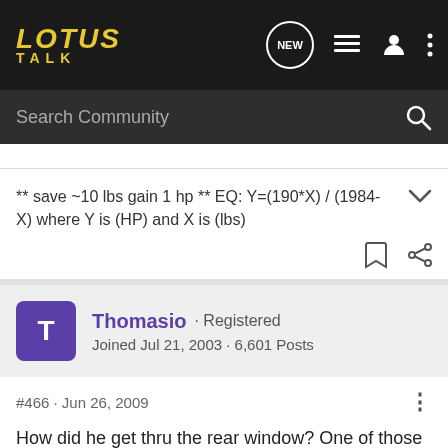LOTUS TALK
Search Community
** save ~10 lbs gain 1 hp ** EQ: Y=(190*X) / (1984-X) where Y is (HP) and X is (lbs)
Thomasio · Registered
Joined Jul 21, 2003 · 6,601 Posts
#466 · Jun 26, 2009
How did he get thru the rear window? One of those jewel-thief diamond-cutter thingies?!